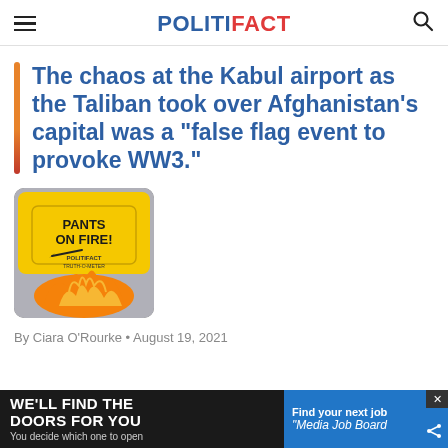POLITIFACT
The chaos at the Kabul airport as the Taliban took over Afghanistan’s capital was a “false flag event to provoke WW3.”
[Figure (illustration): PolitiFact Truth-O-Meter rating image showing 'Pants on Fire!' with flames and a gauge, on a yellow background with rounded corners.]
By Ciara O’Rourke • August 19, 2021
[Figure (infographic): Advertisement banner: 'WE'LL FIND THE DOORS FOR YOU - You decide which one to open' on dark background, beside a 'Find your next job - Media Job Board' blue panel with share and close buttons.]